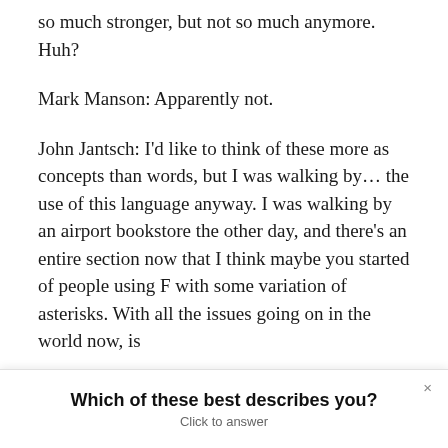so much stronger, but not so much anymore. Huh?
Mark Manson: Apparently not.
John Jantsch: I'd like to think of these more as concepts than words, but I was walking by... the use of this language anyway. I was walking by an airport bookstore the other day, and there's an entire section now that I think maybe you started of people using F with some variation of asterisks. With all the issues going on in the world now, is
Which of these best describes you?
Click to answer